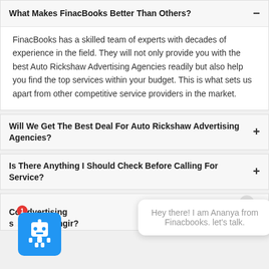What Makes FinacBooks Better Than Others?
FinacBooks has a skilled team of experts with decades of experience in the field. They will not only provide you with the best Auto Rickshaw Advertising Agencies readily but also help you find the top services within your budget. This is what sets us apart from other competitive service providers in the market.
Will We Get The Best Deal For Auto Rickshaw Advertising Agencies?
Is There Anything I Should Check Before Calling For Service?
Co...dvertising s...ege, Balangir?
Hey there! I am Ananya from Finacbooks. let's talk.